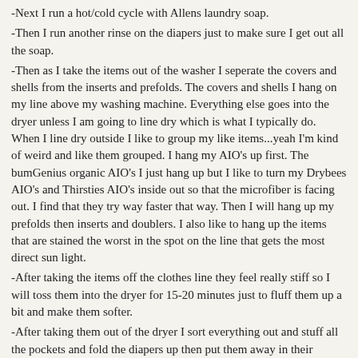-Next I run a hot/cold cycle with Allens laundry soap.
-Then I run another rinse on the diapers just to make sure I get out all the soap.
-Then as I take the items out of the washer I seperate the covers and shells from the inserts and prefolds. The covers and shells I hang on my line above my washing machine. Everything else goes into the dryer unless I am going to line dry which is what I typically do. When I line dry outside I like to group my like items...yeah I'm kind of weird and like them grouped. I hang my AIO's up first. The bumGenius organic AIO's I just hang up but I like to turn my Drybees AIO's and Thirsties AIO's inside out so that the microfiber is facing out. I find that they try way faster that way. Then I will hang up my prefolds then inserts and doublers. I also like to hang up the items that are stained the worst in the spot on the line that gets the most direct sun light.
-After taking the items off the clothes line they feel really stiff so I will toss them into the dryer for 15-20 minutes just to fluff them up a bit and make them softer.
-After taking them out of the dryer I sort everything out and stuff all the pockets and fold the diapers up then put them away in their designated spots.
[Figure (photo): Partial photo visible at bottom of page, dark blue/navy tones, appears to be fabric or diapers]